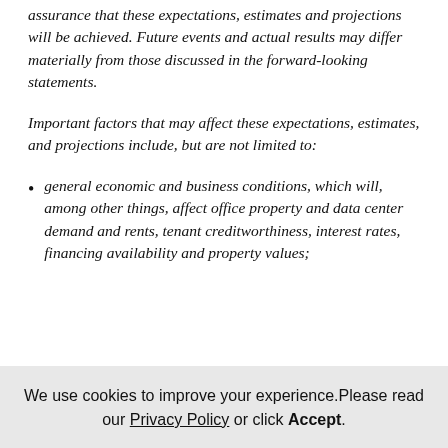assurance that these expectations, estimates and projections will be achieved. Future events and actual results may differ materially from those discussed in the forward-looking statements.
Important factors that may affect these expectations, estimates, and projections include, but are not limited to:
general economic and business conditions, which will, among other things, affect office property and data center demand and rents, tenant creditworthiness, interest rates, financing availability and property values;
We use cookies to improve your experience. Please read our Privacy Policy or click Accept.